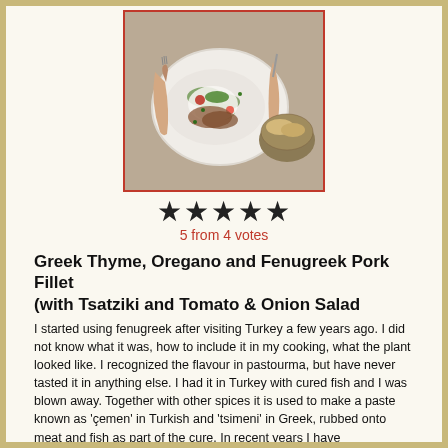[Figure (photo): Overhead photo of a Mediterranean dish on a white oval plate, hands holding fork and knife, garnished with herbs and white sauce, with a wicker bread basket on the side]
5 from 4 votes
Greek Thyme, Oregano and Fenugreek Pork Fillet (with Tsatziki and Tomato & Onion Salad
I started using fenugreek after visiting Turkey a few years ago. I did not know what it was, how to include it in my cooking, what the plant looked like. I recognized the flavour in pastourma, but have never tasted it in anything else. I had it in Turkey with cured fish and I was blown away. Together with other spices it is used to make a paste known as 'çemen' in Turkish and 'tsimeni' in Greek, rubbed onto meat and fish as part of the cure. In recent years I have experimented a lot with fenugreek seeds and have included them in stews, marinades and, of course, curing pastes. In Crete, oregano, salt and pepper are mostly used for grilled meats. The addition of hot and aromatic spices is not very common. I added some fenugreek powder to this simple seasoning and I must say that I will never cook pork on the grill without